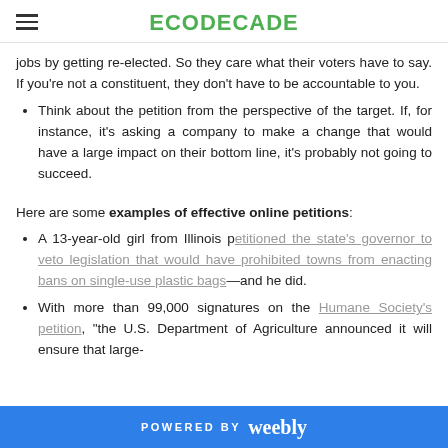ECODECADE
jobs by getting re-elected. So they care what their voters have to say. If you're not a constituent, they don't have to be accountable to you.
Think about the petition from the perspective of the target. If, for instance, it's asking a company to make a change that would have a large impact on their bottom line, it's probably not going to succeed.
Here are some examples of effective online petitions:
A 13-year-old girl from Illinois petitioned the state's governor to veto legislation that would have prohibited towns from enacting bans on single-use plastic bags—and he did.
With more than 99,000 signatures on the Humane Society's petition, "the U.S. Department of Agriculture announced  it will ensure that large-
POWERED BY weebly